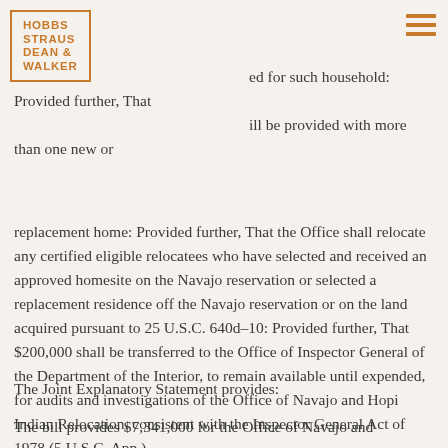HOBBS STRAUS DEAN & WALKER
ed for such household: Provided further, That ill be provided with more than one new or replacement home: Provided further, That the Office shall relocate any certified eligible relocatees who have selected and received an approved homesite on the Navajo reservation or selected a replacement residence off the Navajo reservation or on the land acquired pursuant to 25 U.S.C. 640d–10: Provided further, That $200,000 shall be transferred to the Office of Inspector General of the Department of the Interior, to remain available until expended, for audits and investigations of the Office of Navajo and Hopi Indian Relocation, consistent with the Inspector General Act of 1978 (5 U.S.C. App.).
The Joint Explanatory Statement provides:
The bill provides $7,341,000 for the Office of Navajo and